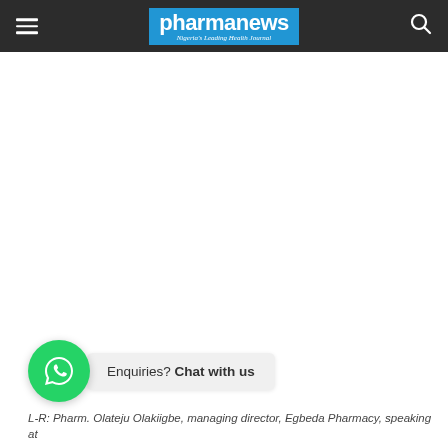pharmanews — Nigeria's Leading Health Journal
[Figure (other): WhatsApp chat widget with green circle icon and bubble saying 'Enquiries? Chat with us']
L-R: Pharm. Olateju Olakiigbe, managing director, Egbeda Pharmacy, speaking at